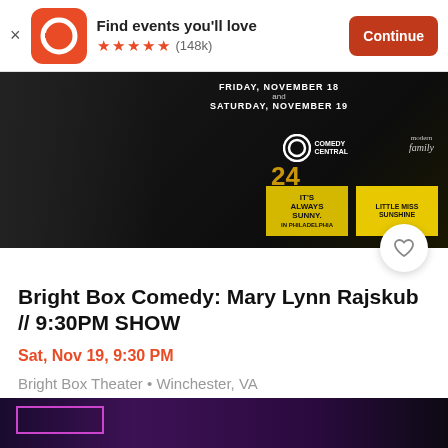Find events you'll love ★★★★★ (148k) Continue
[Figure (photo): Event promotional image with dark background showing a performer, TV show logos (Comedy Central, Modern Family, Always Sunny in Philadelphia, Little Miss Sunshine), text FRIDAY, NOVEMBER 18 and SATURDAY, NOVEMBER 19, and number 24]
Bright Box Comedy: Mary Lynn Rajskub // 9:30PM SHOW
Sat, Nov 19, 9:30 PM
Bright Box Theater • Winchester, VA
Free
[Figure (photo): Bottom strip of another event image with purple/pink glowing rectangle on dark background]